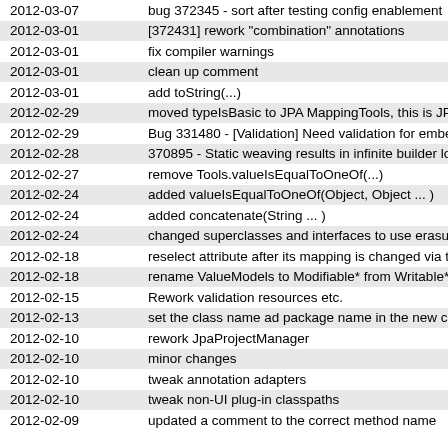| Date | Message |
| --- | --- |
| 2012-03-07 | bug 372345 - sort after testing config enablement |
| 2012-03-01 | [372431] rework "combination" annotations |
| 2012-03-01 | fix compiler warnings |
| 2012-03-01 | clean up comment |
| 2012-03-01 | add toString(...) |
| 2012-02-29 | moved typeIsBasic to JPA MappingTools, this is JP |
| 2012-02-29 | Bug 331480 - [Validation] Need validation for embe |
| 2012-02-28 | 370895 - Static weaving results in infinite builder lo |
| 2012-02-27 | remove Tools.valueIsEqualToOneOf(...) |
| 2012-02-24 | added valueIsEqualToOneOf(Object, Object ... ) |
| 2012-02-24 | added concatenate(String ... ) |
| 2012-02-24 | changed superclasses and interfaces to use erasu |
| 2012-02-18 | reselect attribute after its mapping is changed via th |
| 2012-02-18 | rename ValueModels to Modifiable* from Writable* |
| 2012-02-15 | Rework validation resources etc. |
| 2012-02-13 | set the class name ad package name in the new cl |
| 2012-02-10 | rework JpaProjectManager |
| 2012-02-10 | minor changes |
| 2012-02-10 | tweak annotation adapters |
| 2012-02-10 | tweak non-UI plug-in classpaths |
| 2012-02-09 | updated a comment to the correct method name |